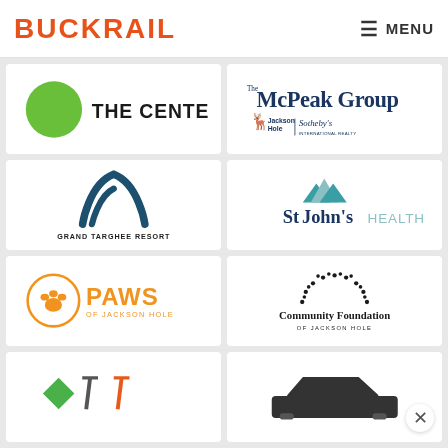BUCKRAIL | MENU
[Figure (logo): The Center logo — green circle with THE CENTER text]
[Figure (logo): The McPeak Group — Jackson Hole Sotheby's International Realty logo]
[Figure (logo): Grand Targhee Resort logo — dark teal mountain/wing shape with GRAND TARGHEE RESORT text]
[Figure (logo): St John's Health logo — teal mountain peaks with StJohn's HEALTH text]
[Figure (logo): PAWS of Jackson Hole logo — orange circle with paw print and PAWS OF JACKSON HOLE text]
[Figure (logo): Community Foundation of Jackson Hole logo — dots arranged in arch pattern]
[Figure (logo): Partial bottom-left logo — green diamond and construction/architecture symbols]
[Figure (logo): Partial bottom-right logo — dark vehicle/car silhouette]